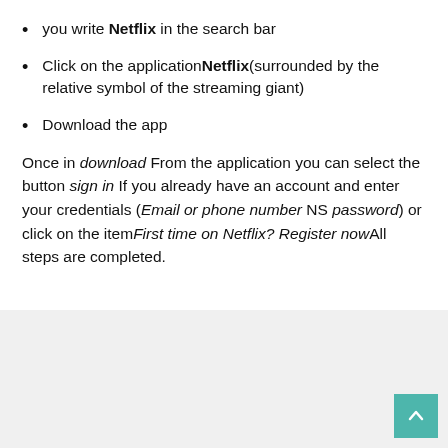you write Netflix in the search bar
Click on the application Netflix (surrounded by the relative symbol of the streaming giant)
Download the app
Once in download From the application you can select the button sign in If you already have an account and enter your credentials (Email or phone number NS password) or click on the item First time on Netflix? Register now All steps are completed.